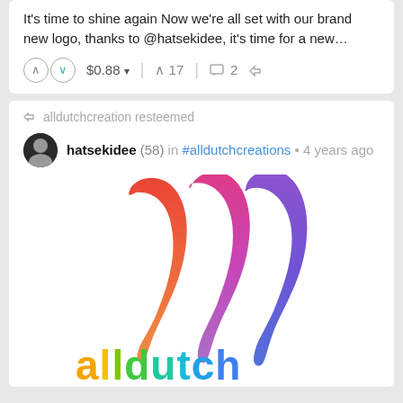It's time to shine again Now we're all set with our brand new logo, thanks to @hatsekidee, it's time for a new…
↑ $0.88 ▾   ↑ 17   2   retweet icon
alldutchcreation resteemed
hatsekidee (58) in #alldutchcreations • 4 years ago
[Figure (logo): Watercolor-style Steem logo with three S-shaped swooshes in red, pink-to-purple gradient, and purple-blue gradient, above the text 'alldutch' in rainbow colored letters]